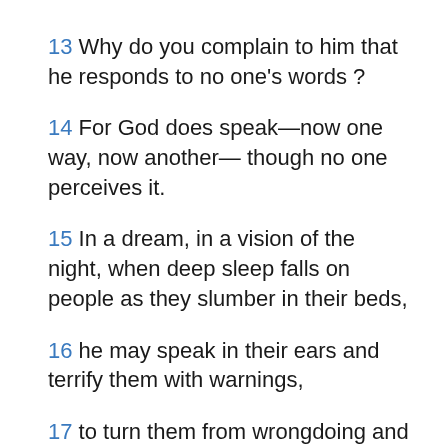13 Why do you complain to him that he responds to no one's words ?
14 For God does speak—now one way, now another— though no one perceives it.
15 In a dream, in a vision of the night, when deep sleep falls on people as they slumber in their beds,
16 he may speak in their ears and terrify them with warnings,
17 to turn them from wrongdoing and keep them from pride,